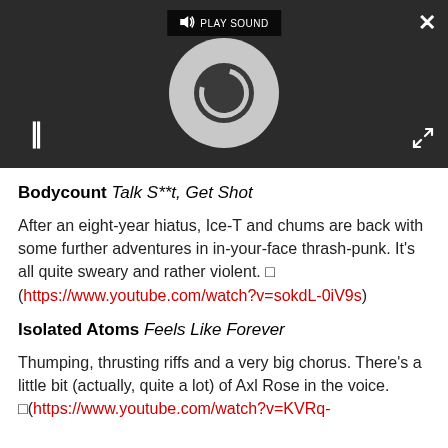[Figure (screenshot): Video player with dark background, loading spinner circle, pause button, play sound button, close button, and expand button]
Bodycount Talk S**t, Get Shot
After an eight-year hiatus, Ice-T and chums are back with some further adventures in in-your-face thrash-punk. It's all quite sweary and rather violent. [] (https://www.youtube.com/watch?v=sokdL-0iV9s)
Isolated Atoms Feels Like Forever
Thumping, thrusting riffs and a very big chorus. There's a little bit (actually, quite a lot) of Axl Rose in the voice. [](https://www.youtube.com/watch?v=KVRq-